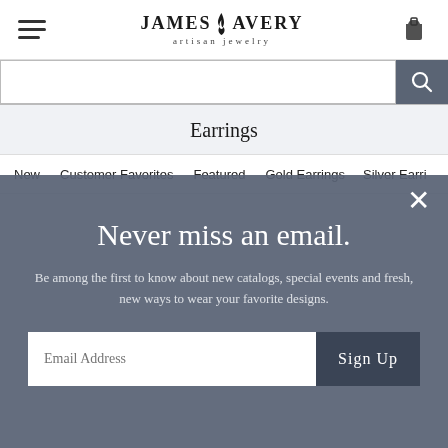James Avery Artisan Jewelry
Search bar
Earrings
New   Customer Favorites   Featured   Gold Earrings   Silver Earri…
Never miss an email.
Be among the first to know about new catalogs, special events and fresh, new ways to wear your favorite designs.
Email Address  Sign Up